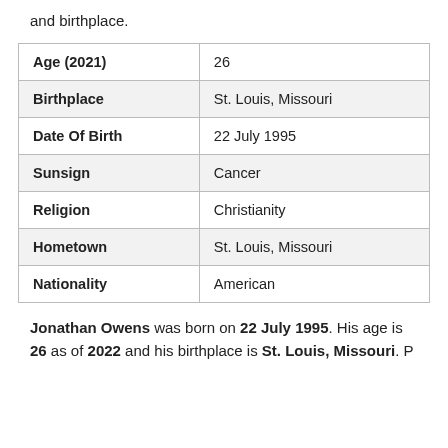and birthplace.
| Age (2021) | 26 |
| Birthplace | St. Louis, Missouri |
| Date Of Birth | 22 July 1995 |
| Sunsign | Cancer |
| Religion | Christianity |
| Hometown | St. Louis, Missouri |
| Nationality | American |
Jonathan Owens was born on 22 July 1995. His age is 26 as of 2022 and his birthplace is St. Louis, Missouri. P...